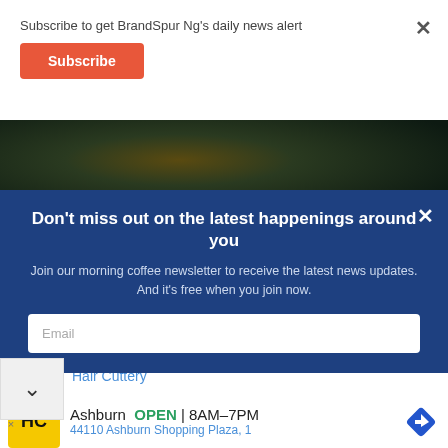Subscribe to get BrandSpur Ng's daily news alert
Subscribe
[Figure (photo): Dark restaurant or bar interior background image, dimly lit with warm bokeh lights]
Don't miss out on the latest happenings around you
Join our morning coffee newsletter to receive the latest news updates. And it's free when you join now.
Email
Hair Cuttery
[Figure (logo): Hair Cuttery HC logo on yellow square background]
Ashburn  OPEN  8AM–7PM
44110 Ashburn Shopping Plaza, 1